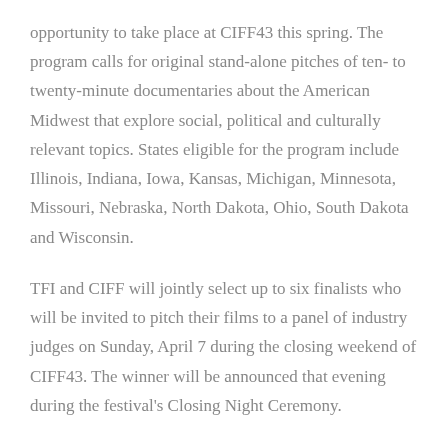opportunity to take place at CIFF43 this spring. The program calls for original stand-alone pitches of ten- to twenty-minute documentaries about the American Midwest that explore social, political and culturally relevant topics. States eligible for the program include Illinois, Indiana, Iowa, Kansas, Michigan, Minnesota, Missouri, Nebraska, North Dakota, Ohio, South Dakota and Wisconsin.
TFI and CIFF will jointly select up to six finalists who will be invited to pitch their films to a panel of industry judges on Sunday, April 7 during the closing weekend of CIFF43. The winner will be announced that evening during the festival's Closing Night Ceremony.